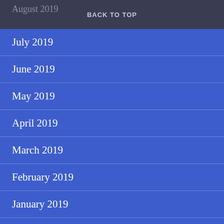August 2019
BACK TO TOP
July 2019
June 2019
May 2019
April 2019
March 2019
February 2019
January 2019
December 2018
November 2018